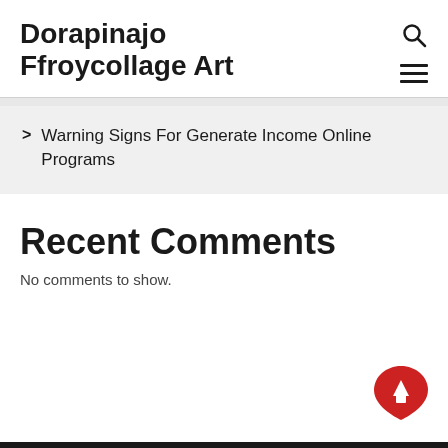Dorapinajo Ffroycollage Art
Warning Signs For Generate Income Online Programs
Recent Comments
No comments to show.